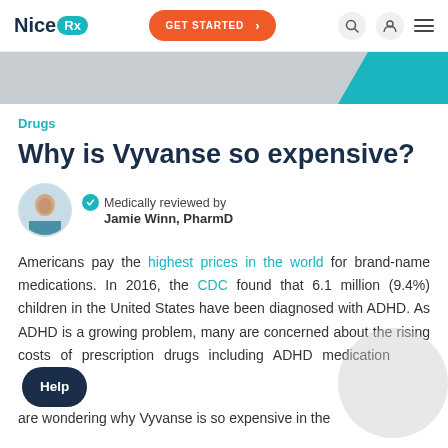NiceRx | GET STARTED
[Figure (illustration): Hero banner with gray background and teal geometric shape on the right side]
Drugs
Why is Vyvanse so expensive?
Medically reviewed by Jamie Winn, PharmD
Americans pay the highest prices in the world for brand-name medications. In 2016, the CDC found that 6.1 million (9.4%) children in the United States have been diagnosed with ADHD. As ADHD is a growing problem, many are concerned about the rising costs of prescription drugs including ADHD medications and are wondering why Vyvanse is so expensive in the